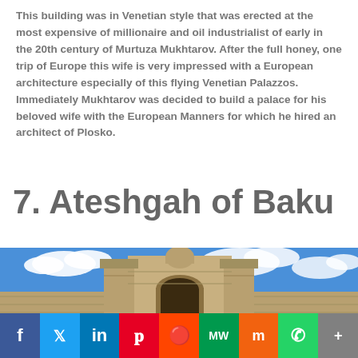This building was in Venetian style that was erected at the most expensive of millionaire and oil industrialist of early in the 20th century of Murtuza Mukhtarov. After the full honey, one trip of Europe this wife is very impressed with a European architecture especially of this flying Venetian Palazzos. Immediately Mukhtarov was decided to build a palace for his beloved wife with the European Manners for which he hired an architect of Plosko.
7. Ateshgah of Baku
[Figure (photo): Photograph of the Ateshgah of Baku — a stone fortress gate with arched entrance under a blue sky with white clouds]
Social sharing bar: Facebook, Twitter, LinkedIn, Pinterest, Reddit, MeWe, Mix, WhatsApp, More